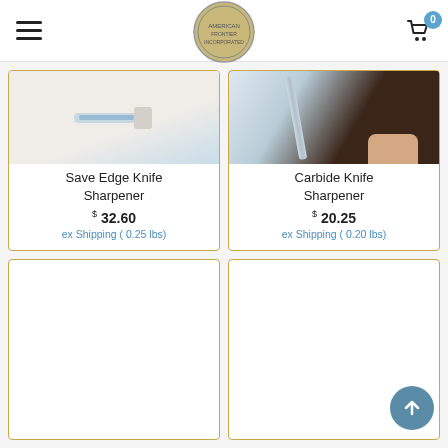Navigation header with hamburger menu, logo, and cart (0 items)
Save Edge Knife Sharpener
$32.60 ex Shipping ( 0.25 lbs)
Carbide Knife Sharpener
$20.25 ex Shipping ( 0.20 lbs)
[Figure (photo): Save Edge Knife Sharpener product image]
[Figure (photo): Carbide Knife Sharpener product image - hand holding sharpener against blade]